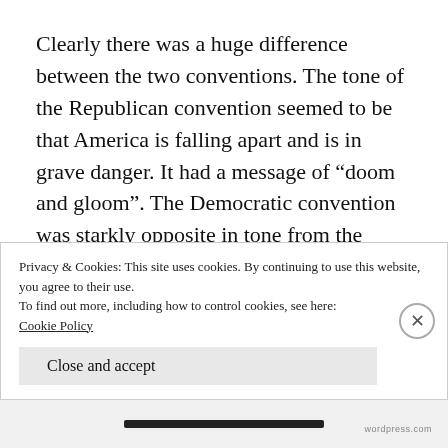Clearly there was a huge difference between the two conventions. The tone of the Republican convention seemed to be that America is falling apart and is in grave danger. It had a message of “doom and gloom”. The Democratic convention was starkly opposite in tone from the Republican party’s. The Democrat’s message portrayed an America that is more united than divided, and pushed the message that there is hope for
Privacy & Cookies: This site uses cookies. By continuing to use this website, you agree to their use.
To find out more, including how to control cookies, see here:
Cookie Policy
Close and accept